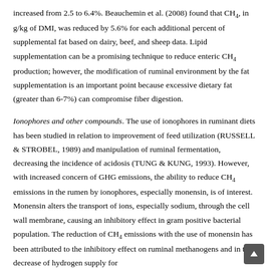increased from 2.5 to 6.4%. Beauchemin et al. (2008) found that CH4, in g/kg of DMI, was reduced by 5.6% for each additional percent of supplemental fat based on dairy, beef, and sheep data. Lipid supplementation can be a promising technique to reduce enteric CH4 production; however, the modification of ruminal environment by the fat supplementation is an important point because excessive dietary fat (greater than 6-7%) can compromise fiber digestion.
Ionophores and other compounds. The use of ionophores in ruminant diets has been studied in relation to improvement of feed utilization (RUSSELL & STROBEL, 1989) and manipulation of ruminal fermentation, decreasing the incidence of acidosis (TUNG & KUNG, 1993). However, with increased concern of GHG emissions, the ability to reduce CH4 emissions in the rumen by ionophores, especially monensin, is of interest. Monensin alters the transport of ions, especially sodium, through the cell wall membrane, causing an inhibitory effect in gram positive bacterial population. The reduction of CH4 emissions with the use of monensin has been attributed to the inhibitory effect on ruminal methanogens and in the decrease of hydrogen supply for